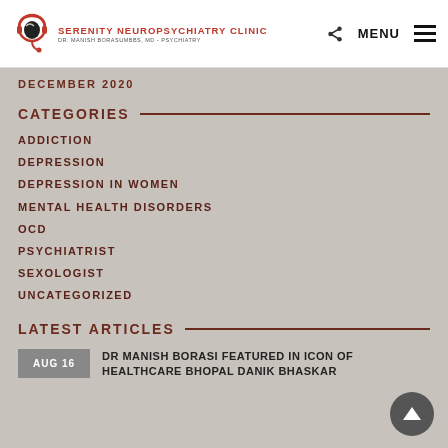SERENITY NEUROPSYCHIATRY CLINIC | DR. MANISH BORASUMBBS, MD - PSYCHIATRY
DECEMBER 2020
CATEGORIES
ADDICTION
DEPRESSION
DEPRESSION IN WOMEN
MENTAL HEALTH DISORDERS
OCD
PSYCHIATRIST
SEXOLOGIST
UNCATEGORIZED
LATEST ARTICLES
AUG 16 | DR MANISH BORASI FEATURED IN ICON OF HEALTHCARE BHOPAL DANIK BHASKAR